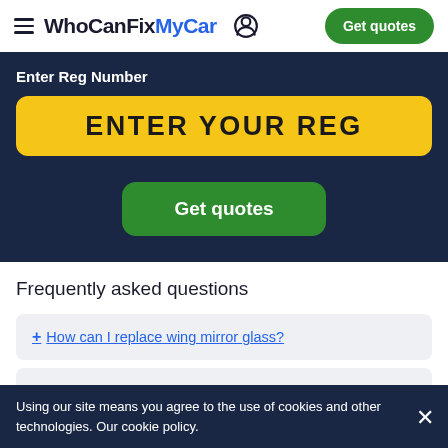WhoCanFixMyCar  Get quotes
Enter Reg Number
ENTER YOUR REG
Get quotes
Frequently asked questions
+ How can I replace wing mirror glass?
Using our site means you agree to the use of cookies and other technologies. Our cookie policy.
+ Does a broken wing mirror cause an MOT failure?